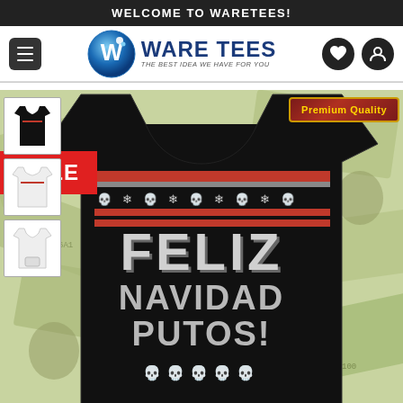WELCOME TO WARETEES!
[Figure (logo): Ware Tees logo with circular W icon and tagline 'THE BEST IDEA WE HAVE FOR YOU']
[Figure (photo): Product photo of a black t-shirt with ugly Christmas sweater design reading 'FELIZ NAVIDAD PUTOS!' with skull and snowflake patterns, displayed against a money/dollar bills background. Has SALE badge and Premium Quality badge. Thumbnail strip on left showing 3 product variants.]